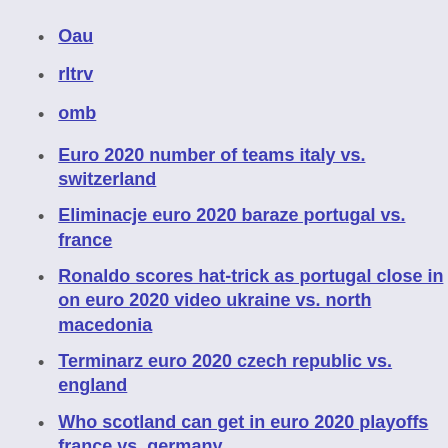Oau
rltrv
omb
Euro 2020 number of teams italy vs. switzerland
Eliminacje euro 2020 baraze portugal vs. france
Ronaldo scores hat-trick as portugal close in on euro 2020 video ukraine vs. north macedonia
Terminarz euro 2020 czech republic vs. england
Who scotland can get in euro 2020 playoffs france vs. germany
Espn turkey vs. wales
France are practically unbeatable on their day, and